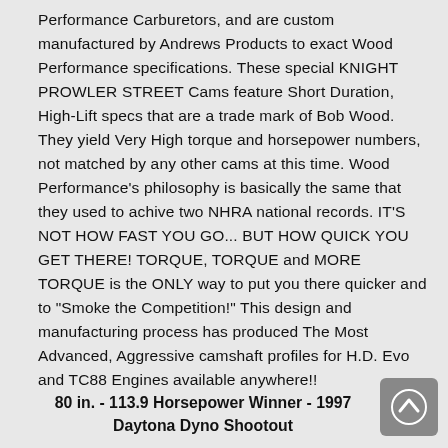Performance Carburetors, and are custom manufactured by Andrews Products to exact Wood Performance specifications. These special KNIGHT PROWLER STREET Cams feature Short Duration, High-Lift specs that are a trade mark of Bob Wood. They yield Very High torque and horsepower numbers, not matched by any other cams at this time. Wood Performance's philosophy is basically the same that they used to achive two NHRA national records. IT'S NOT HOW FAST YOU GO... BUT HOW QUICK YOU GET THERE! TORQUE, TORQUE and MORE TORQUE is the ONLY way to put you there quicker and to "Smoke the Competition!" This design and manufacturing process has produced The Most Advanced, Aggressive camshaft profiles for H.D. Evo and TC88 Engines available anywhere!!
80 in. - 113.9 Horsepower Winner - 1997 Daytona Dyno Shootout